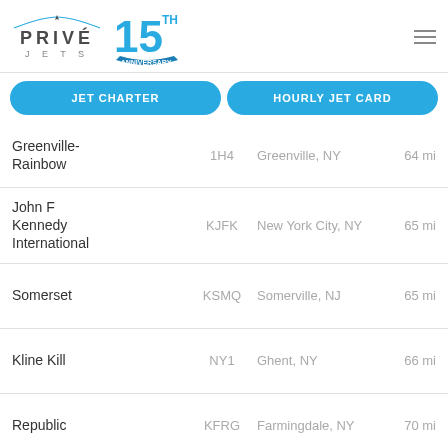[Figure (logo): Privé Jets logo with airplane icon and '15th Anniversary' badge]
| Airport Name | Code | City | Distance |
| --- | --- | --- | --- |
| Greenville-Rainbow | 1H4 | Greenville, NY | 64 mi |
| John F Kennedy International | KJFK | New York City, NY | 65 mi |
| Somerset | KSMQ | Somerville, NJ | 65 mi |
| Kline Kill | NY1 | Ghent, NY | 66 mi |
| Republic | KFRG | Farmingdale, NY | 70 mi |
| Tweed New Haven | KHVN | New Haven, CT | 73 mi |
Call Us Now